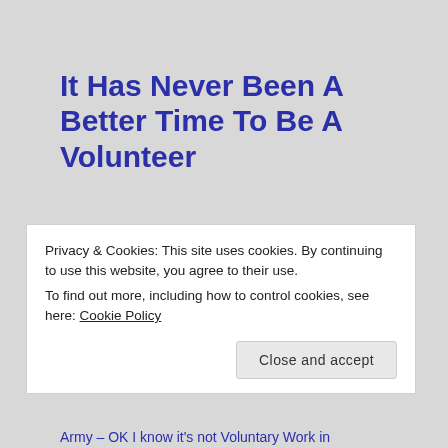It Has Never Been A Better Time To Be A Volunteer
BY RETIREDANDANGRY - POSTED ON APRIL 11, 2015 - POSTED IN UNCATEGORIZED - 9 COMMENTS - TAGGED WITH ARMED FORCES, AUSTERITY, DAVID CAMERON, DEFENCE REVIEW, GOVERNMENT, MOD, POLICING, REFORM, SPECIAL CONSTABULARY, THERESA MAY, TOM WINSOR, VOLUNTARY WORK
Privacy & Cookies: This site uses cookies. By continuing to use this website, you agree to their use.
To find out more, including how to control cookies, see here: Cookie Policy
Army – OK I know it's not Voluntary Work in